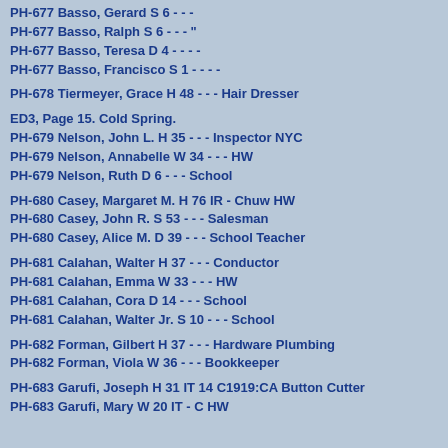PH-677 Basso, Gerard S 6 - - -
PH-677 Basso, Ralph S 6 - - - "
PH-677 Basso, Teresa D 4 - - - -
PH-677 Basso, Francisco S 1 - - - -
PH-678 Tiermeyer, Grace H 48 - - - Hair Dresser
ED3, Page 15. Cold Spring.
PH-679 Nelson, John L. H 35 - - - Inspector NYC
PH-679 Nelson, Annabelle W 34 - - - HW
PH-679 Nelson, Ruth D 6 - - - School
PH-680 Casey, Margaret M. H 76 IR - Chuw HW
PH-680 Casey, John R. S 53 - - - Salesman
PH-680 Casey, Alice M. D 39 - - - School Teacher
PH-681 Calahan, Walter H 37 - - - Conductor
PH-681 Calahan, Emma W 33 - - - HW
PH-681 Calahan, Cora D 14 - - - School
PH-681 Calahan, Walter Jr. S 10 - - - School
PH-682 Forman, Gilbert H 37 - - - Hardware Plumbing
PH-682 Forman, Viola W 36 - - - Bookkeeper
PH-683 Garufi, Joseph H 31 IT 14 C1919:CA Button Cutter
PH-683 Garufi, Mary W 20 IT - C HW